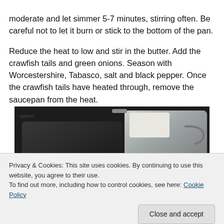moderate and let simmer 5-7 minutes, stirring often. Be careful not to let it burn or stick to the bottom of the pan.
Reduce the heat to low and stir in the butter. Add the crawfish tails and green onions. Season with Worcestershire, Tabasco, salt and black pepper. Once the crawfish tails have heated through, remove the saucepan from the heat.
[Figure (photo): Photo of cooking pots and pans on a stove, with orange/red food visible at the bottom.]
Privacy & Cookies: This site uses cookies. By continuing to use this website, you agree to their use.
To find out more, including how to control cookies, see here: Cookie Policy
Close and accept